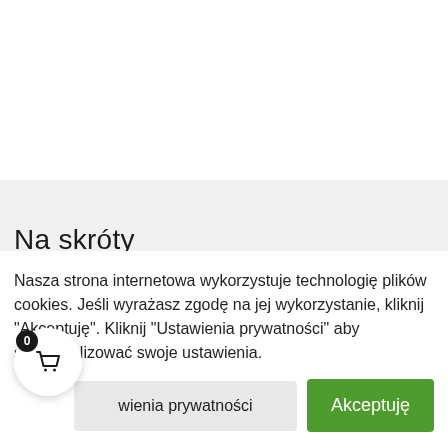Na skróty
Nasza strona internetowa wykorzystuje technologię plików cookies. Jeśli wyrażasz zgodę na jej wykorzystanie, kliknij "Akceptuję". Kliknij "Ustawienia prywatności" aby spersonalizować swoje ustawienia.
Ustawienia prywatności
Akceptuję